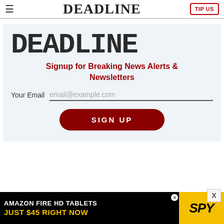≡  DEADLINE  TIP US
[Figure (logo): DEADLINE brand logo in large bold typewriter font]
Signup for Breaking News Alerts & Newsletters
Your Email  email@example.com
SIGN UP
[Figure (screenshot): Advertisement banner: AMAZON FIRE HD TABLETS JUST $45 RIGHT NOW with SPY logo on yellow background]